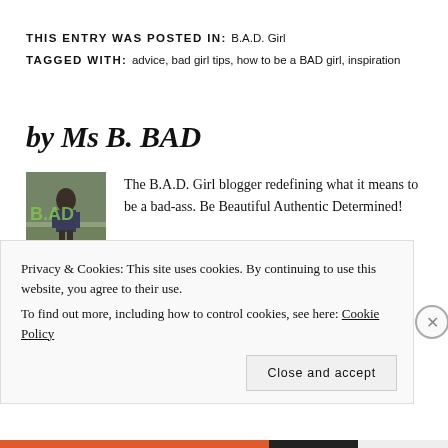THIS ENTRY WAS POSTED IN: B.A.D. Girl
TAGGED WITH: advice, bad girl tips, how to be a BAD girl, inspiration
by Ms B. BAD
[Figure (photo): Author photo of Ms B. BAD standing in front of a graffiti wall]
The B.A.D. Girl blogger redefining what it means to be a bad-ass. Be Beautiful Authentic Determined!
Privacy & Cookies: This site uses cookies. By continuing to use this website, you agree to their use.
To find out more, including how to control cookies, see here: Cookie Policy
Close and accept